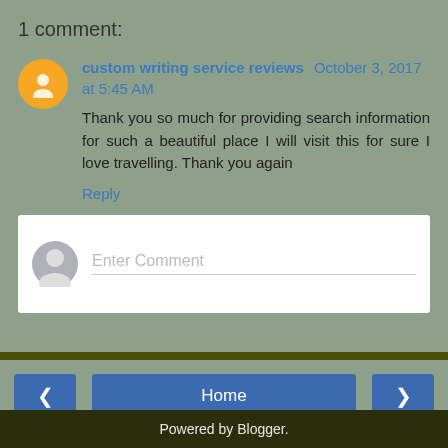1 comment:
custom writing service reviews  October 3, 2017 at 5:45 AM
Thank you so much for providing search information for such a beautiful place I will visit this for sure I love travelling. Thank you again
Reply
Enter Comment
Home
View web version
Powered by Blogger.